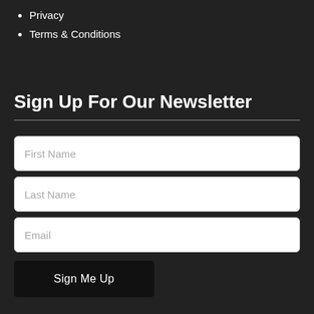Privacy
Terms & Conditions
Sign Up For Our Newsletter
[Figure (other): Newsletter signup form with First Name, Last Name, Email input fields and a Sign Me Up button]